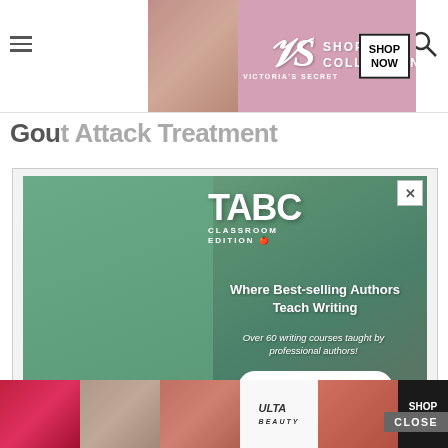[Figure (screenshot): Victoria's Secret advertisement banner at top of page with model, VS logo, SHOP THE COLLECTION text, and SHOP NOW button]
Gout Attack Treatment
[Figure (screenshot): TABC Classroom Edition advertisement showing two children in blue shirts, with text: Where Best-selling Authors Teach Writing, Over 60 writing courses taught by professional authors!, and Get Started! button]
Gout attacks are one of the most painful joint problems. Anti-inflammatory medicines are the most effective medicines to control the pain. There are several Anti-inflammatory medicines available but it has a...
[Figure (screenshot): Ulta Beauty advertisement banner at bottom with makeup product images, Ulta logo, and SHOP NOW button with CLOSE overlay]